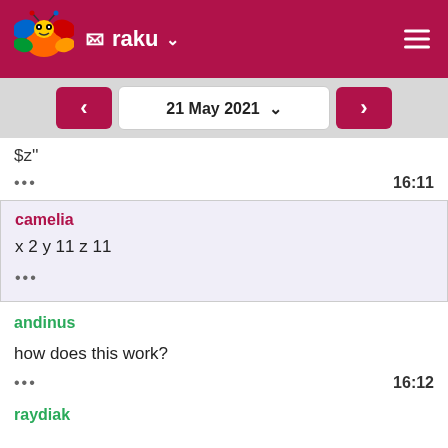raku
21 May 2021
$z''
••• 16:11
camelia
x 2 y 11 z 11
•••
andinus
how does this work?
••• 16:12
raydiak